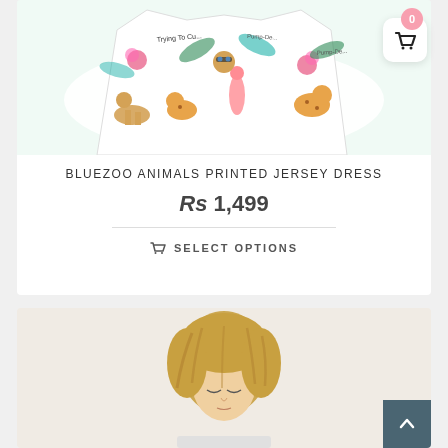[Figure (photo): Colorful animal-print jersey dress with tropical animals including flamingo, cheetah, camel, and other safari animals on a white background]
BLUEZOO ANIMALS PRINTED JERSEY DRESS
Rs 1,499
SELECT OPTIONS
[Figure (photo): Blond-haired boy looking down, product photo on light beige background]